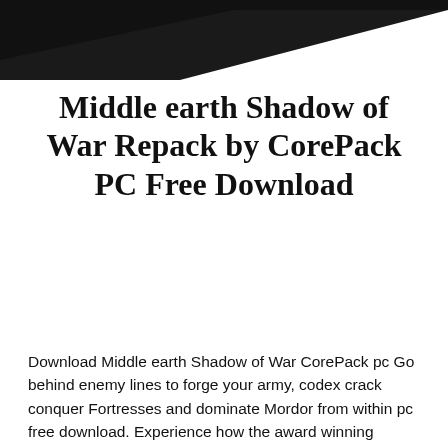[Figure (illustration): Black triangular decorative header shape in top-left corner of the page]
Middle earth Shadow of War Repack by CorePack PC Free Download
Download Middle earth Shadow of War CorePack pc Go behind enemy lines to forge your army, codex crack conquer Fortresses and dominate Mordor from within pc free download. Experience how the award winning Nemesis System creates